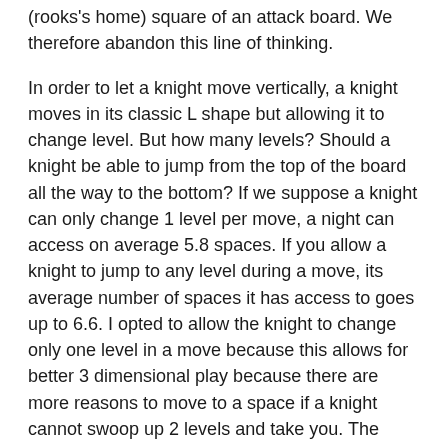(rooks's home) square of an attack board. We therefore abandon this line of thinking.
In order to let a knight move vertically, a knight moves in its classic L shape but allowing it to change level. But how many levels? Should a knight be able to jump from the top of the board all the way to the bottom? If we suppose a knight can only change 1 level per move, a night can access on average 5.8 spaces. If you allow a knight to jump to any level during a move, its average number of spaces it has access to goes up to 6.6. I opted to allow the knight to change only one level in a move because this allows for better 3 dimensional play because there are more reasons to move to a space if a knight cannot swoop up 2 levels and take you. The difference between 5.8 and 6.6 did not add very much relative weakness between the knight and the bishop.
The Bishop